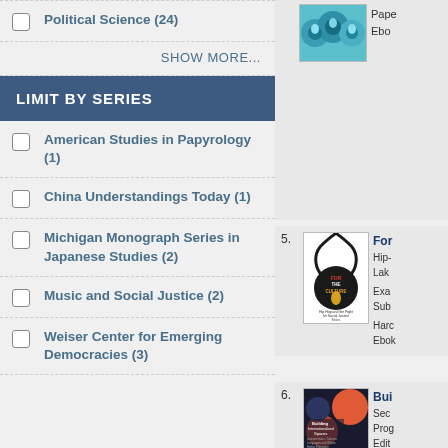Political Science (24)
SHOW MORE...
LIMIT BY SERIES
American Studies in Papyrology (1)
China Understandings Today (1)
Michigan Monograph Series in Japanese Studies (2)
Music and Social Justice (2)
Weiser Center for Emerging Democracies (3)
[Figure (photo): Book cover - partial view at top right, colorful figures]
Pape
Ebo
[Figure (photo): Book cover - For the Culture: Hip Hop and the Fight for Social Justice]
5.
For
Hip-
Lak
Exa
Sub
Hard
Ebo
[Figure (photo): Book cover - Building Internationalized Spaces]
6.
Bui
Sec
Pro
Edit
Sub